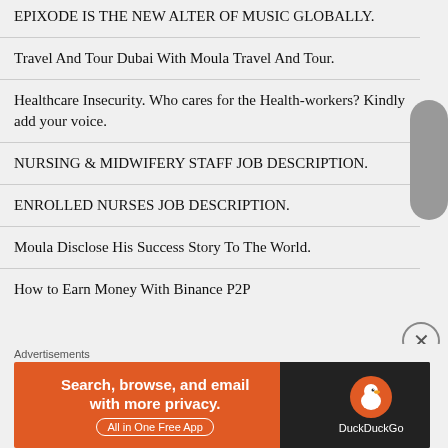EPIXODE IS THE NEW ALTER OF MUSIC GLOBALLY.
Travel And Tour Dubai With Moula Travel And Tour.
Healthcare Insecurity. Who cares for the Health-workers? Kindly add your voice.
NURSING & MIDWIFERY STAFF JOB DESCRIPTION.
ENROLLED NURSES JOB DESCRIPTION.
Moula Disclose His Success Story To The World.
How to Earn Money With Binance P2P
Advertisements
[Figure (infographic): DuckDuckGo advertisement banner: orange left section with text 'Search, browse, and email with more privacy. All in One Free App', dark right section with DuckDuckGo logo and duck icon.]